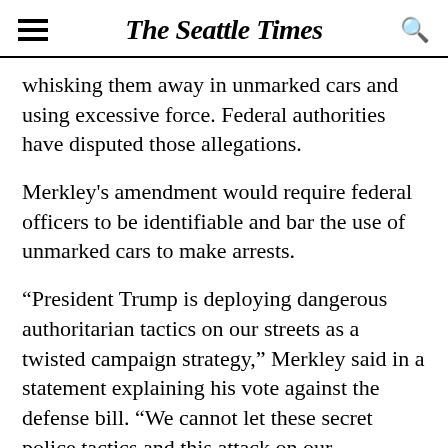The Seattle Times
whisking them away in unmarked cars and using excessive force. Federal authorities have disputed those allegations.
Merkley's amendment would require federal officers to be identifiable and bar the use of unmarked cars to make arrests.
“President Trump is deploying dangerous authoritarian tactics on our streets as a twisted campaign strategy,” Merkley said in a statement explaining his vote against the defense bill. “We cannot let these secret police tactics and this attack on our democratic freedoms stand.”
Sen. Kevin Cramer, R-N.D., called Merkley’s proposal nothing more than “political messaging